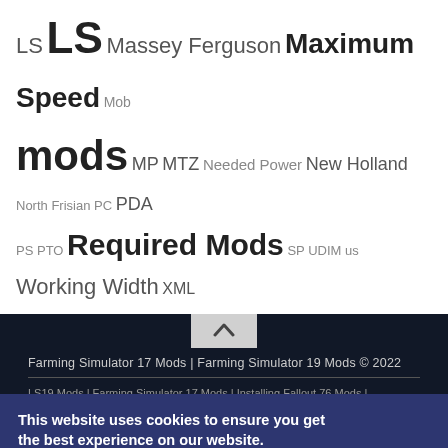LS LS Massey Ferguson Maximum Speed Mob mods MP MTZ Needed Power New Holland North Frisian PC PDA PS PTO Required Mods SP UDIM us Working Width XML
[Figure (other): Back to top arrow button (chevron up) on dark background]
Farming Simulator 17 Mods | Farming Simulator 19 Mods © 2022
LS19 Mods | Farming Simulator 17 Mods | Installing Fallout 76 Mods |
SnowRunner Maps FS15 Map Mods Game Save Files | ETS 2 Mods | Minecraft Skins | Train Simulator Mods | City Car Driving Mods | ... SnowRunner Maps | Fallout 4 Mods | Game Trainers | Installing Cyberpunk 2077 Mods | Best Cities Skylines Mods | GTA 5 Mods | Stardew Valley Mods | Watch Dogs Legion Mods | Skyward Mods | Far Cry 6 Mods | Tekken 7 | ...  Special Edition Mods | Mods Mod
This website uses cookies to ensure you get the best experience on our website. Learn more
Got it!